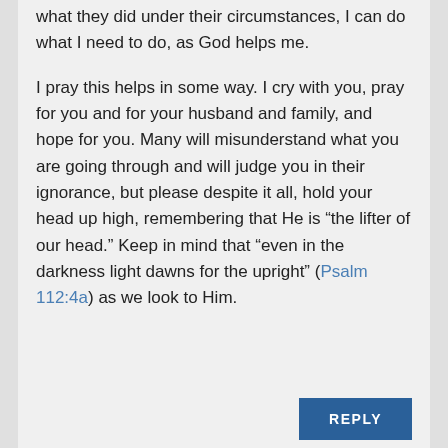what they did under their circumstances, I can do what I need to do, as God helps me.

I pray this helps in some way. I cry with you, pray for you and for your husband and family, and hope for you. Many will misunderstand what you are going through and will judge you in their ignorance, but please despite it all, hold your head up high, remembering that He is “the lifter of our head.” Keep in mind that “even in the darkness light dawns for the upright” (Psalm 112:4a) as we look to Him.